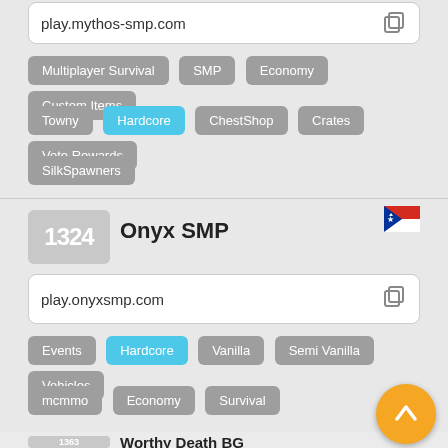play.mythos-smp.com
Multiplayer Survival
SMP
Economy
Custom Items
Towny
Hardcore
ChestShop
Crates
Vote Rewards
SilkSpawners
1324 Onyx SMP
play.onyxsmp.com
Events
Hardcore
Vanilla
Semi Vanilla
Vehicles
mcmmo
Economy
Survival
1363 Worthy Death BG
87.121.54.215:25580